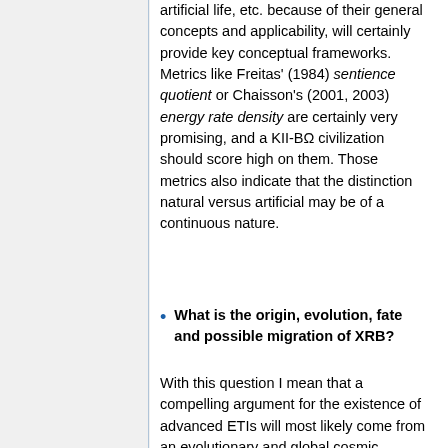artificial life, etc. because of their general concepts and applicability, will certainly provide key conceptual frameworks. Metrics like Freitas' (1984) sentience quotient or Chaisson's (2001, 2003) energy rate density are certainly very promising, and a KII-BΩ civilization should score high on them. Those metrics also indicate that the distinction natural versus artificial may be of a continuous nature.
What is the origin, evolution, fate and possible migration of XRB?
With this question I mean that a compelling argument for the existence of advanced ETIs will most likely come from an evolutionary and global cosmic understanding of natural and possibly artificial stellar evolution in our and other galaxies.